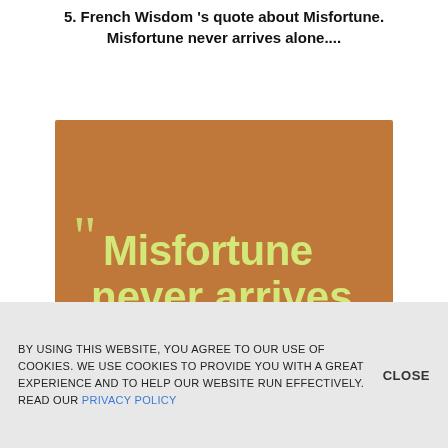5. French Wisdom 's quote about Misfortune. Misfortune never arrives alone....
[Figure (illustration): Orange/brown square image with large quote text reading 'Misfortune never arrives ALONE.' in yellow-green lettering with large opening and closing quotation marks, and a blue 'REMOVE ADS. UPGRADE TO PRO' button with a crown icon at the bottom.]
BY USING THIS WEBSITE, YOU AGREE TO OUR USE OF COOKIES. WE USE COOKIES TO PROVIDE YOU WITH A GREAT EXPERIENCE AND TO HELP OUR WEBSITE RUN EFFECTIVELY. READ OUR PRIVACY POLICY
CLOSE